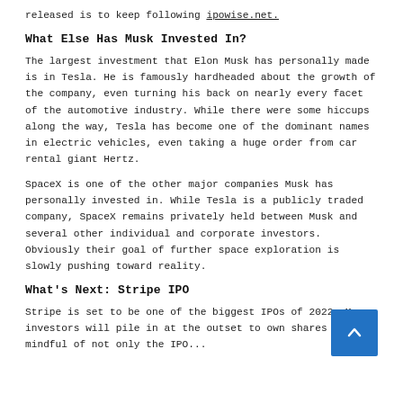released is to keep following ipowise.net.
What Else Has Musk Invested In?
The largest investment that Elon Musk has personally made is in Tesla. He is famously hardheaded about the growth of the company, even turning his back on nearly every facet of the automotive industry. While there were some hiccups along the way, Tesla has become one of the dominant names in electric vehicles, even taking a huge order from car rental giant Hertz.
SpaceX is one of the other major companies Musk has personally invested in. While Tesla is a publicly traded company, SpaceX remains privately held between Musk and several other individual and corporate investors. Obviously their goal of further space exploration is slowly pushing toward reality.
What's Next: Stripe IPO
Stripe is set to be one of the biggest IPOs of 2022. Many investors will pile in at the outset to own shares but be mindful of not only the IPO...